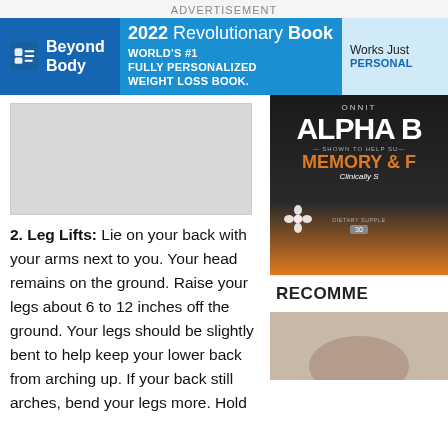ADVERTISEMENT
[Figure (infographic): Beyond Body advertisement banner: logo on blue background, '2022 Revolutionary Book' headline, 'WORLD'S #1 FULLY PERSONALIZED WEIGHT LOSS BOOK.', 'Works Just... PERSONALI...']
[Figure (photo): Gray placeholder image area]
2. Leg Lifts: Lie on your back with your arms next to you. Your head remains on the ground. Raise your legs about 6 to 12 inches off the ground. Your legs should be slightly bent to help keep your lower back from arching up. If your back still arches, bend your legs more. Hold
[Figure (photo): Alpha Brain supplement bottle - ONNIT brand, showing ALPHA B[RAIN], MEMORY & [FOCUS], Clinically S[tudied], dietary supplement, 30 capsules, dark bottle with orange label at bottom]
RECOMME[NDED]
[Figure (photo): Partial image at bottom right of sidebar]